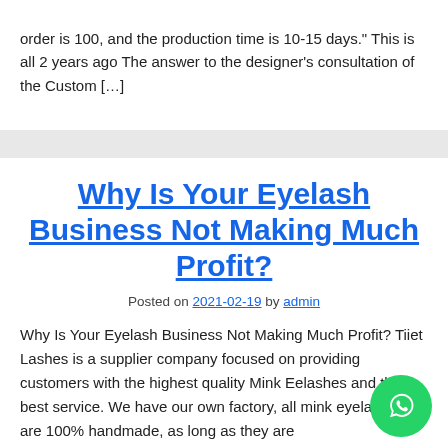order is 100, and the production time is 10-15 days." This is all 2 years ago The answer to the designer's consultation of the Custom […]
Why Is Your Eyelash Business Not Making Much Profit?
Posted on 2021-02-19 by admin
Why Is Your Eyelash Business Not Making Much Profit? Tiiet Lashes is a supplier company focused on providing customers with the highest quality Mink Eelashes and the best service. We have our own factory, all mink eyelashes are 100% handmade, as long as they are